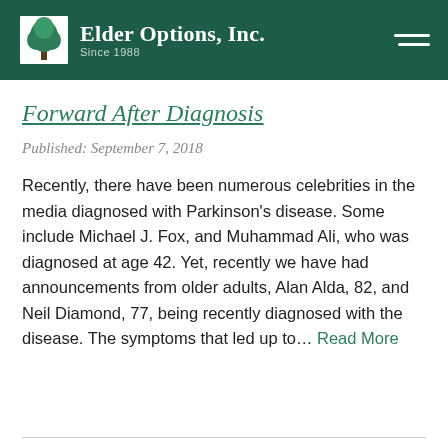Elder Options, Inc. Since 1988
Forward After Diagnosis
Published: September 7, 2018
Recently, there have been numerous celebrities in the media diagnosed with Parkinson’s disease. Some include Michael J. Fox, and Muhammad Ali, who was diagnosed at age 42. Yet, recently we have had announcements from older adults, Alan Alda, 82, and Neil Diamond, 77, being recently diagnosed with the disease. The symptoms that led up to… Read More